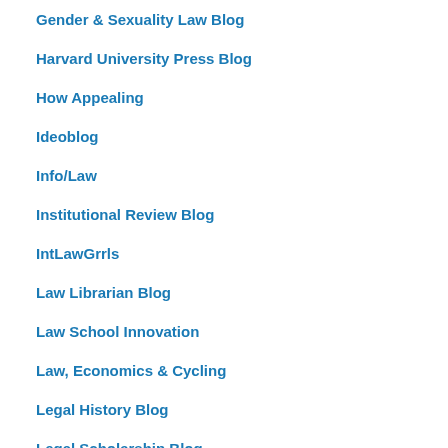Gender & Sexuality Law Blog
Harvard University Press Blog
How Appealing
Ideoblog
Info/Law
Institutional Review Blog
IntLawGrrls
Law Librarian Blog
Law School Innovation
Law, Economics & Cycling
Legal History Blog
Legal Scholarship Blog
Legal Theory Blog
Madisonian
Mirror of Justice
MoneyLaw
Nancy Rapoport's Blogspot
NYU Press Blog
to as "al... jur... Plu bec mu of my wo is on the leg hist of ant Uni Sta I sta rea son